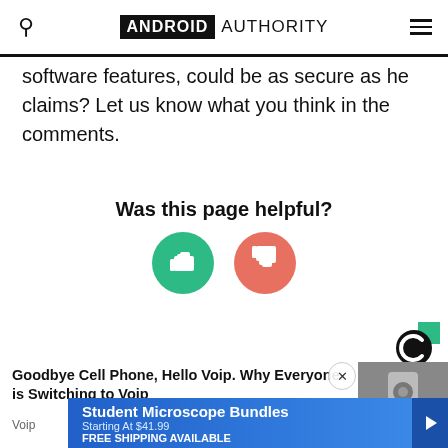ANDROID AUTHORITY
software features, could be as secure as he claims? Let us know what you think in the comments.
Was this page helpful?
[Figure (illustration): Two circular buttons: a green thumbs-up button and a red/salmon thumbs-down button]
[Figure (logo): Sponsored content badge - circular C logo with green accent]
Goodbye Cell Phone, Hello Voip. Why Everyone is Switching to Voip
Voip
[Figure (photo): Photo of hands holding small electronic components]
[Figure (infographic): Advertisement banner: Student Microscope Bundles, Starting At $41.99, FREE SHIPPING AVAILABLE, with microscope photo]